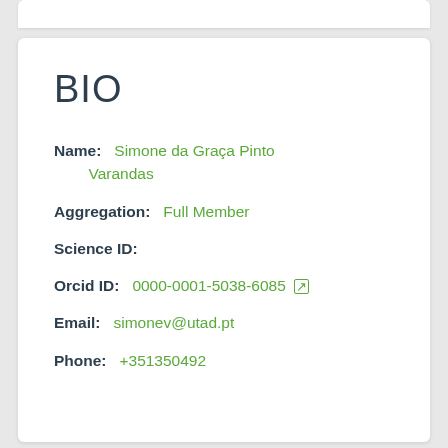BIO
Name:  Simone da Graça Pinto Varandas
Aggregation:  Full Member
Science ID:
Orcid ID:  0000-0001-5038-6085
Email:  simonev@utad.pt
Phone:  +351350492